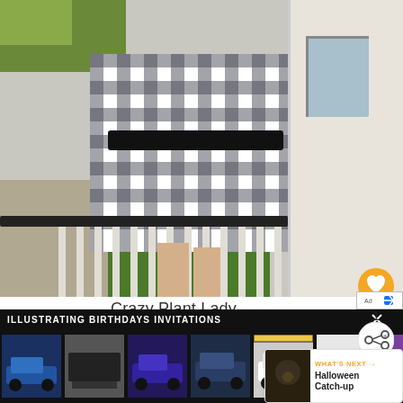[Figure (photo): Woman wearing a black and white gingham check dress leaning on a porch railing outdoors]
Crazy Plant Lady
< Next
ILLUSTRATING BIRTHDAYS INVITATIONS
[Figure (screenshot): Bottom navigation bar with thumbnail images of trucks and vehicles, an ad banner, and a WHAT'S NEXT card for Halloween Catch-up]